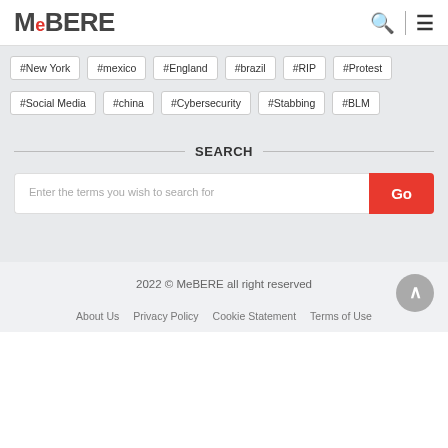MeBERE
#New York  #mexico  #England  #brazil  #RIP  #Protest
#Social Media  #china  #Cybersecurity  #Stabbing  #BLM
SEARCH
Enter the terms you wish to search for
2022 © MeBERE all right reserved
About Us  Privacy Policy  Cookie Statement  Terms of Use